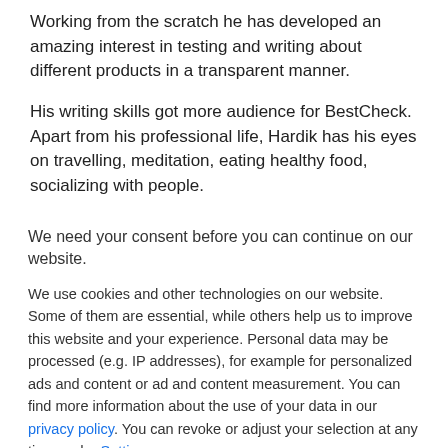Working from the scratch he has developed an amazing interest in testing and writing about different products in a transparent manner.
His writing skills got more audience for BestCheck. Apart from his professional life, Hardik has his eyes on travelling, meditation, eating healthy food, socializing with people.
We need your consent before you can continue on our website.
We use cookies and other technologies on our website. Some of them are essential, while others help us to improve this website and your experience. Personal data may be processed (e.g. IP addresses), for example for personalized ads and content or ad and content measurement. You can find more information about the use of your data in our privacy policy. You can revoke or adjust your selection at any time under Settings.
Individual Privacy Preferences | Accept only essential cookies
I accept